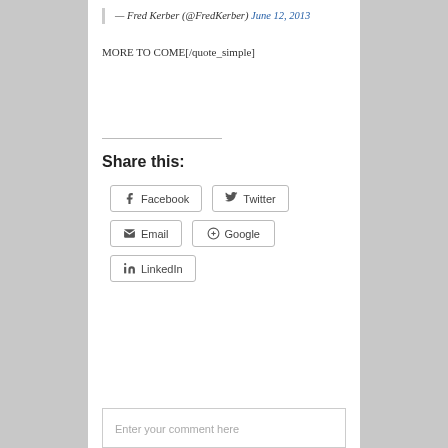— Fred Kerber (@FredKerber) June 12, 2013
MORE TO COME[/quote_simple]
Share this:
Facebook  Twitter  Email  Google  LinkedIn
Enter your comment here